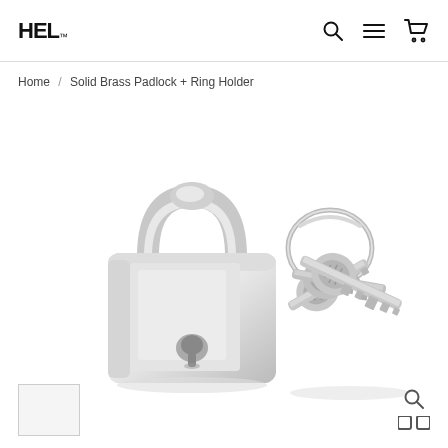HEL | Home / Solid Brass Padlock + Ring Holder
Home / Solid Brass Padlock + Ring Holder
[Figure (photo): Product photo of a silver/chrome solid brass padlock on the left and three silver keys on a key ring on the right, on a white background.]